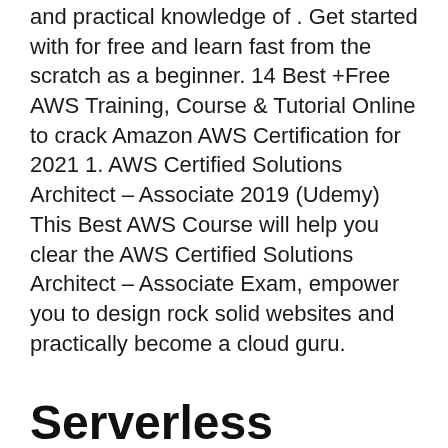and practical knowledge of . Get started with for free and learn fast from the scratch as a beginner. 14 Best +Free AWS Training, Course & Tutorial Online to crack Amazon AWS Certification for 2021 1. AWS Certified Solutions Architect – Associate 2019 (Udemy) This Best AWS Course will help you clear the AWS Certified Solutions Architect – Associate Exam, empower you to design rock solid websites and practically become a cloud guru.
Serverless Architectures with AWS - IT Training Insoft Services